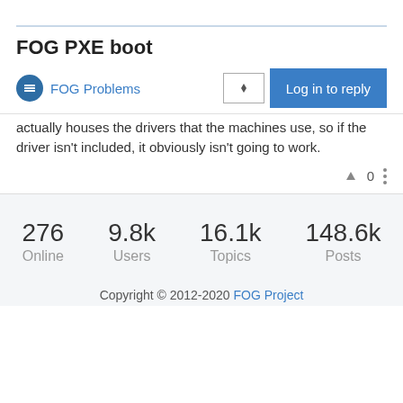FOG PXE boot
FOG Problems
actually houses the drivers that the machines use, so if the driver isn't included, it obviously isn't going to work.
0
276 Online
9.8k Users
16.1k Topics
148.6k Posts
Copyright © 2012-2020 FOG Project